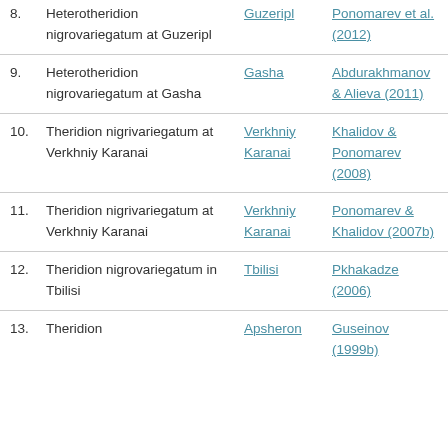8. Heterotheridion nigrovariegatum at Guzeripl | Guzeripl | Ponomarev et al. (2012)
9. Heterotheridion nigrovariegatum at Gasha | Gasha | Abdurakhmanov & Alieva (2011)
10. Theridion nigrivariegatum at Verkhniy Karanai | Verkhniy Karanai | Khalidov & Ponomarev (2008)
11. Theridion nigrivariegatum at Verkhniy Karanai | Verkhniy Karanai | Ponomarev & Khalidov (2007b)
12. Theridion nigrovariegatum in Tbilisi | Tbilisi | Pkhakadze (2006)
13. Theridion | Apsheron | Guseinov (1999b)